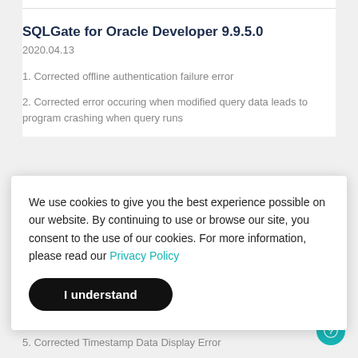SQLGate for Oracle Developer 9.9.5.0
2020.04.13
1. Corrected offline authentication failure error
2. Corrected error occuring when modified query data leads to program crashing when query runs
We use cookies to give you the best experience possible on our website. By continuing to use or browse our site, you consent to the use of our cookies. For more information, please read our Privacy Policy
I understand
multiple session connections
4. Improved automatic completion of parameters
5. Corrected Timestamp Data Display Error